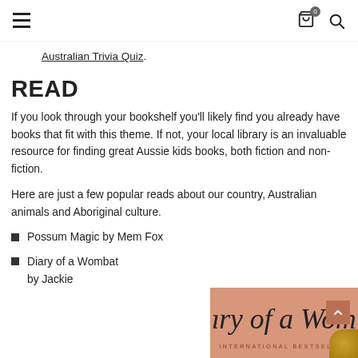Navigation bar with hamburger menu, cart icon (0), and search icon
Australian Trivia Quiz.
READ
If you look through your bookshelf you'll likely find you already have books that fit with this theme. If not, your local library is an invaluable resource for finding great Aussie kids books, both fiction and non-fiction.
Here are just a few popular reads about our country, Australian animals and Aboriginal culture.
Possum Magic by Mem Fox
Diary of a Wombat by Jackie
[Figure (illustration): Book cover image showing 'Diary of a Wombat' text in handwritten style on a salmon/peach background, with 'INTERNATIONAL BESTSELLER' text below and a partial gold medal badge at the bottom right corner.]